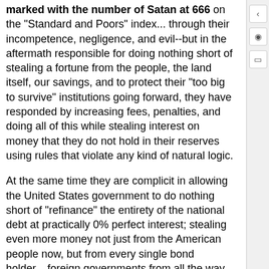marked with the number of Satan at 666 on the "Standard and Poors" index... through their incompetence, negligence, and evil--but in the aftermath responsible for doing nothing short of stealing a fortune from the people, the land itself, our savings, and to protect their "too big to survive" institutions going forward, they have responded by increasing fees, penalties, and doing all of this while stealing interest on money that they do not hold in their reserves using rules that violate any kind of natural logic.
At the same time they are complicit in allowing the United States government to do nothing short of "refinance" the entirety of the national debt at practically 0% perfect interest; stealing even more money not just from the American people now, but from every single bond holder... foreign governments from all the way from China to the UK; and doing all of this while they were manipulating not only the currency markets, but causing the spread of our malign woes to nearly every foreign securities market.  All of this, with the government coming out on top of the people, and a looming threat of hyperinflation that is being made even more exacerbated by the continuation of pump